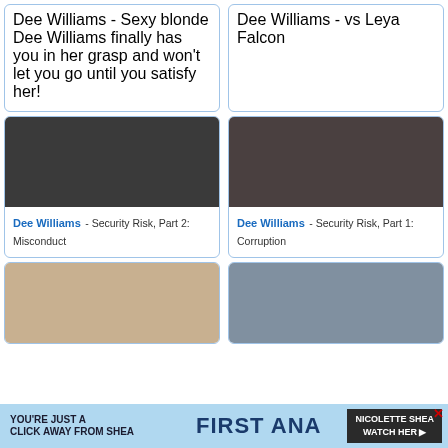Dee Williams - Sexy blonde Dee Williams finally has you in her grasp and won't let you go until you satisfy her!
Dee Williams - vs Leya Falcon
[Figure (photo): Three people in dark scene, adult content]
Dee Williams - Security Risk, Part 2: Misconduct
[Figure (photo): Blonde woman in adult scene]
Dee Williams - Security Risk, Part 1: Corruption
[Figure (photo): Two women on bed, adult content]
[Figure (photo): Two women facing each other, adult content]
[Figure (photo): Advertisement banner for adult site featuring Nicolette Shea]